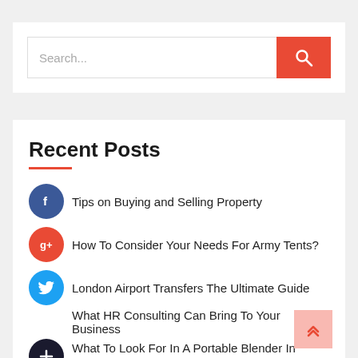[Figure (screenshot): Search bar with text input and red search button with magnifying glass icon]
Recent Posts
Tips on Buying and Selling Property
How To Consider Your Needs For Army Tents?
London Airport Transfers The Ultimate Guide
What HR Consulting Can Bring To Your Business
What To Look For In A Portable Blender In Australia?